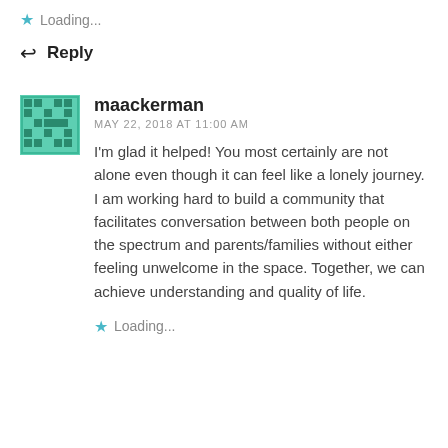Loading...
↩ Reply
maackerman
MAY 22, 2018 AT 11:00 AM
I'm glad it helped! You most certainly are not alone even though it can feel like a lonely journey. I am working hard to build a community that facilitates conversation between both people on the spectrum and parents/families without either feeling unwelcome in the space. Together, we can achieve understanding and quality of life.
Loading...